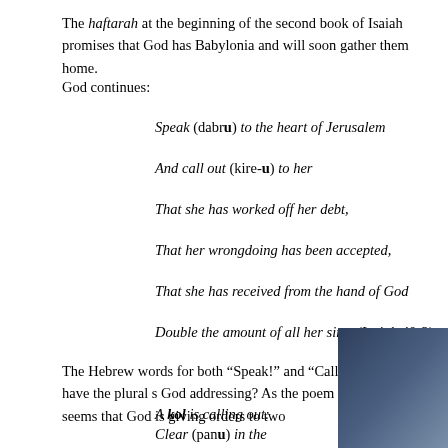The haftarah at the beginning of the second book of Isaiah promises that God has [seen the Jews in] Babylonia and will soon gather them home.
God continues:
Speak (dabru) to the heart of Jerusalem
And call out (kire-u) to her
That she has worked off her debt,
That her wrongdoing has been accepted,
That she has received from the hand of God
Double the amount of all her sins. (Isaiah 40:2)
The Hebrew words for both “Speak!” and “Call out!” above also have the plural suffix. Who is God addressing? As the poem continues, it seems that God is giving orders to two [angels].
A kol is calling out:
Clear (panu) in the wilderness
A path for God!
[Figure (photo): Dark blue/grey gradient image in the bottom right corner of the page.]